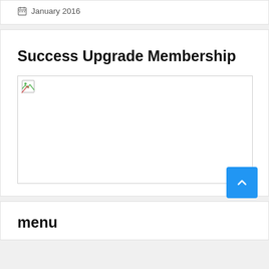January 2016
Success Upgrade Membership
[Figure (photo): Broken image placeholder with torn document icon in top-left corner]
menu